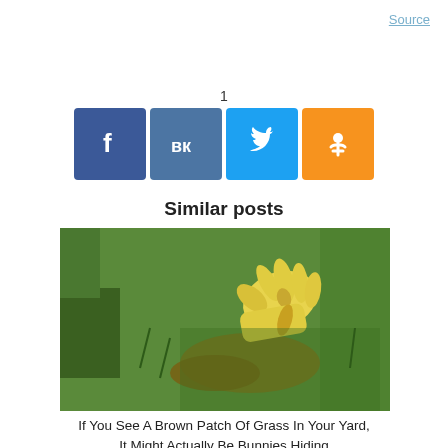Source
1
[Figure (infographic): Social media share buttons: Facebook (blue), VK (dark blue), Twitter (light blue), Odnoklassniki (orange)]
Similar posts
[Figure (photo): A gloved hand pointing at a brown patch in green grass, possibly hiding a bunny nest]
If You See A Brown Patch Of Grass In Your Yard, It Might Actually Be Bunnies Hiding